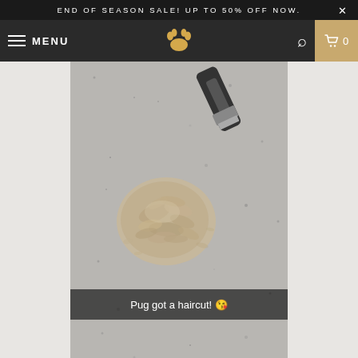END OF SEASON SALE! UP TO 50% OFF NOW.
MENU
[Figure (screenshot): A Snapchat-style photo showing a pile of pug fur clippings on a granite floor with a hair clipper visible at the top, with caption overlay reading 'Pug got a haircut! 😘']